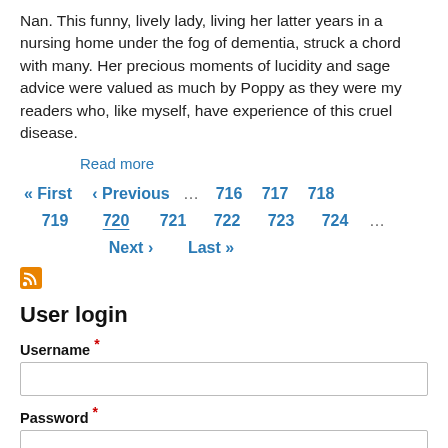Nan. This funny, lively lady, living her latter years in a nursing home under the fog of dementia, struck a chord with many. Her precious moments of lucidity and sage advice were valued as much by Poppy as they were my readers who, like myself, have experience of this cruel disease.
Read more
« First ‹ Previous … 716 717 718 719 720 721 722 723 724 … Next › Last »
[Figure (other): RSS feed icon (orange square with white radio wave symbol)]
User login
Username *
Password *
Log in
Create new account